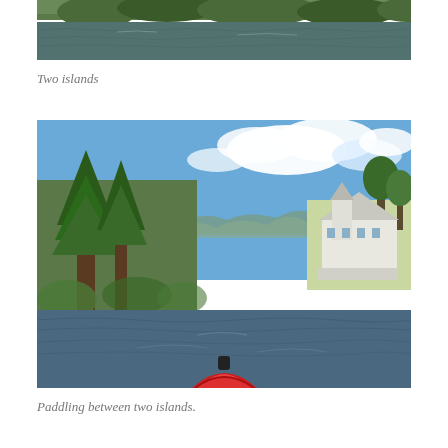[Figure (photo): Top portion of a lake/river scene, showing dark water with ripples and trees/vegetation in background, cropped view]
Two islands
[Figure (photo): Kayaking view between two islands on a lake. Left island has tall pine trees and rocky shoreline. Right island has a large white Victorian-style house with a tower. Blue sky with white clouds above. Red kayak bow visible at bottom center.]
Paddling between two islands.